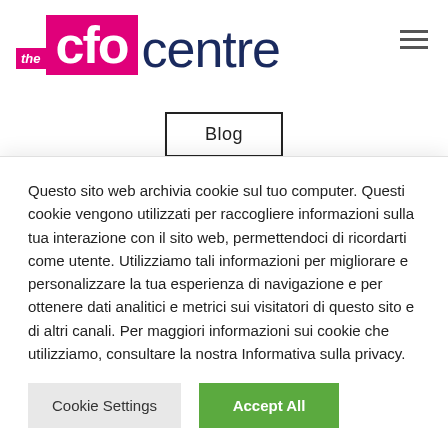[Figure (logo): The CFO Centre logo: pink/magenta square with 'cfo' in white bold letters, preceded by small italic 'the' text, followed by 'centre' in dark navy blue large text]
Blog
How a Strategic CFO can
Questo sito web archivia cookie sul tuo computer. Questi cookie vengono utilizzati per raccogliere informazioni sulla tua interazione con il sito web, permettendoci di ricordarti come utente. Utilizziamo tali informazioni per migliorare e personalizzare la tua esperienza di navigazione e per ottenere dati analitici e metrici sui visitatori di questo sito e di altri canali. Per maggiori informazioni sui cookie che utilizziamo, consultare la nostra Informativa sulla privacy.
Cookie Settings
Accept All